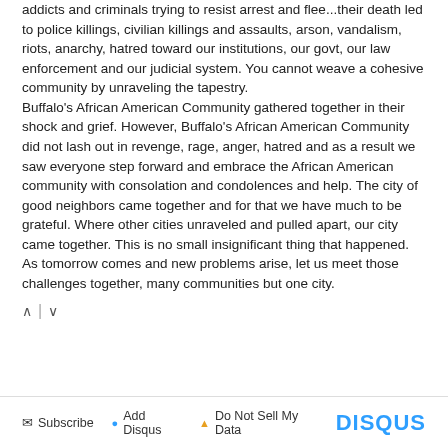addicts and criminals trying to resist arrest and flee...their death led to police killings, civilian killings and assaults, arson, vandalism, riots, anarchy, hatred toward our institutions, our govt, our law enforcement and our judicial system. You cannot weave a cohesive community by unraveling the tapestry.
Buffalo's African American Community gathered together in their shock and grief. However, Buffalo's African American Community did not lash out in revenge, rage, anger, hatred and as a result we saw everyone step forward and embrace the African American community with consolation and condolences and help. The city of good neighbors came together and for that we have much to be grateful. Where other cities unraveled and pulled apart, our city came together. This is no small insignificant thing that happened. As tomorrow comes and new problems arise, let us meet those challenges together, many communities but one city.
Subscribe  Add Disqus  Do Not Sell My Data  DISQUS